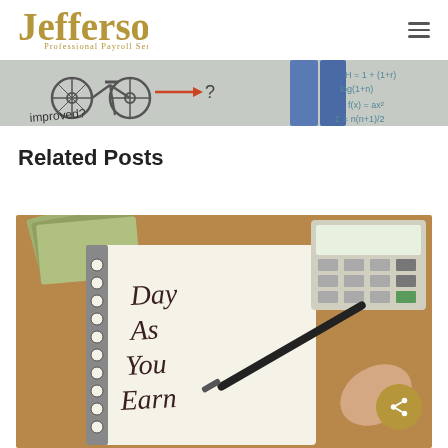Jefferson Professional Payroll Services
[Figure (photo): Banner image showing a whiteboard with doodles of a bicycle, arrows, question marks, and mathematical equations; a person in jeans standing next to the board]
Related Posts
[Figure (photo): Photo of a spiral notebook with 'Day As You Earn' written in marker, alongside cash, a calculator, and a pen being held by a hand on a wooden desk. A circular share button with a network/share icon overlays the bottom right of the image.]